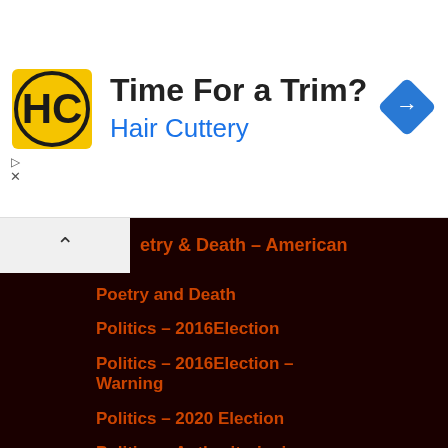[Figure (logo): Hair Cuttery advertisement banner with HC logo, 'Time For a Trim?' headline, 'Hair Cuttery' subtitle in blue, and blue diamond navigation icon]
etry & Death – American
Poetry and Death
Politics – 2016Election
Politics – 2016Election – Warning
Politics – 2020 Election
Politics – Authoritarianism
Politics – General
Politics – Science
Politics – Trump & Republicans
Politics – Truth